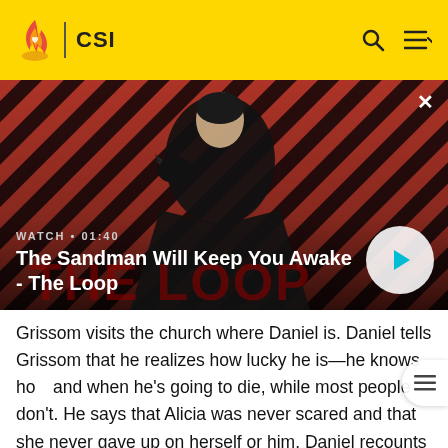CSI
[Figure (screenshot): Video thumbnail for 'The Sandman Will Keep You Awake - The Loop' showing a dark-cloaked figure with a raven on a striped red and dark background. Label reads WATCH • 01:40 with a play button.]
The Sandman Will Keep You Awake - The Loop
Grissom visits the church where Daniel is. Daniel tells Grissom that he realizes how lucky he is—he knows how and when he's going to die, while most people don't. He says that Alicia was never scared and that she never gave up on herself or him. Daniel recounts making his parents swear that after his last relapse, they wouldn't